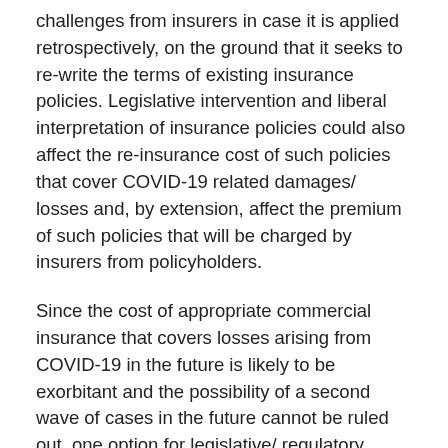challenges from insurers in case it is applied retrospectively, on the ground that it seeks to re-write the terms of existing insurance policies. Legislative intervention and liberal interpretation of insurance policies could also affect the re-insurance cost of such policies that cover COVID-19 related damages/ losses and, by extension, affect the premium of such policies that will be charged by insurers from policyholders.
Since the cost of appropriate commercial insurance that covers losses arising from COVID-19 in the future is likely to be exorbitant and the possibility of a second wave of cases in the future cannot be ruled out, one option for legislative/ regulatory intervention could be to make it mandatory for all loss of profit policies and other ‘all-risk’ policies issued/ renewed from now on to necessarily cover business interruption losses due to